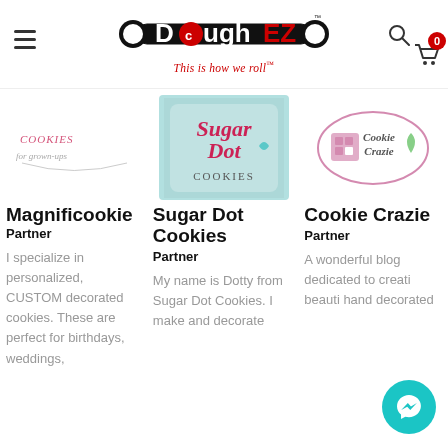[Figure (logo): DoughEZ rolling pin logo with tagline 'This is how we roll']
[Figure (logo): Magnificookie partner logo with cookies text]
[Figure (logo): Sugar Dot Cookies logo on teal background]
[Figure (logo): Cookie Crazie logo in oval]
Magnificookie
Partner
I specialize in personalized, CUSTOM decorated cookies. These are perfect for birthdays, weddings,
Sugar Dot Cookies
Partner
My name is Dotty from Sugar Dot Cookies. I make and decorate
Cookie Crazie
Partner
A wonderful blog dedicated to creati beauti hand decorated